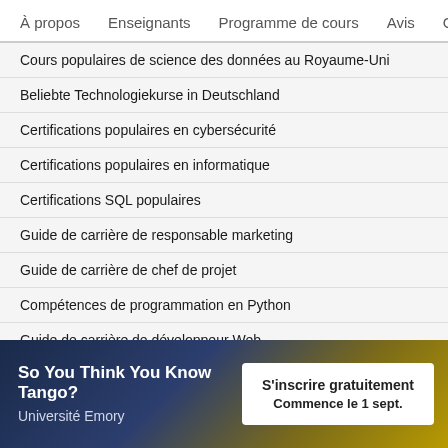À propos    Enseignants    Programme de cours    Avis    Op
Cours populaires de science des données au Royaume-Uni
Beliebte Technologiekurse in Deutschland
Certifications populaires en cybersécurité
Certifications populaires en informatique
Certifications SQL populaires
Guide de carrière de responsable marketing
Guide de carrière de chef de projet
Compétences de programmation en Python
Guide de carrière de développeur Web
Compétences d'analyste de données
Compétences pour un concepteur UX
So You Think You Know Tango?
Université Emory
S'inscrire gratuitement
Commence le 1 sept.